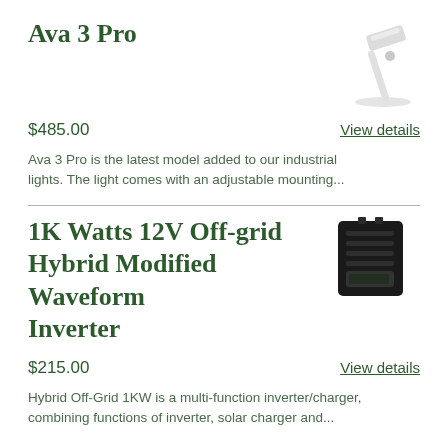Ava 3 Pro
[Figure (photo): Photo of Ava 3 Pro industrial light with adjustable mounting arm, shown at an angle on white background]
$485.00
View details
Ava 3 Pro is the latest model added to our industrial lights. The light comes with an adjustable mounting...
1K Watts 12V Off-grid Hybrid Modified Waveform Inverter
[Figure (photo): Photo of 1K Watts 12V Off-grid Hybrid Modified Waveform Inverter, a black rectangular device with ventilation slots]
$215.00
View details
Hybrid Off-Grid 1KW is a multi-function inverter/charger, combining functions of inverter, solar charger and...